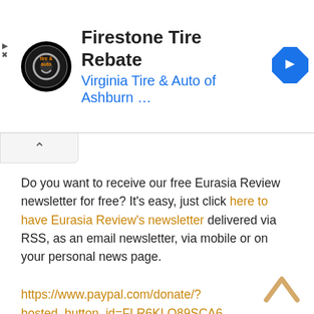[Figure (screenshot): Ad banner for Firestone Tire Rebate from Virginia Tire & Auto of Ashburn, with circular logo on left and blue direction arrow icon on right]
Do you want to receive our free Eurasia Review newsletter for free? It's easy, just click here to have Eurasia Review's newsletter delivered via RSS, as an email newsletter, via mobile or on your personal news page.
https://www.paypal.com/donate/?hosted_button_id=FLR6KLQ89SCA6